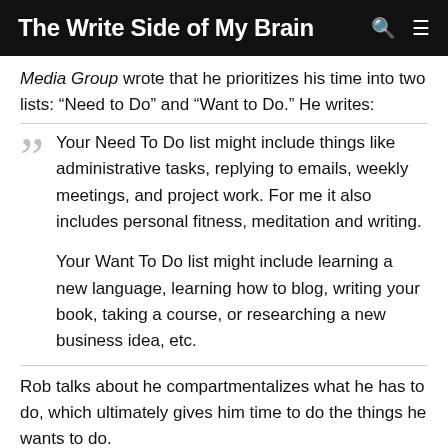The Write Side of My Brain
Media Group wrote that he prioritizes his time into two lists: “Need to Do” and “Want to Do.” He writes:
Your Need To Do list might include things like administrative tasks, replying to emails, weekly meetings, and project work. For me it also includes personal fitness, meditation and writing.

Your Want To Do list might include learning a new language, learning how to blog, writing your book, taking a course, or researching a new business idea, etc.
Rob talks about he compartmentalizes what he has to do, which ultimately gives him time to do the things he wants to do.